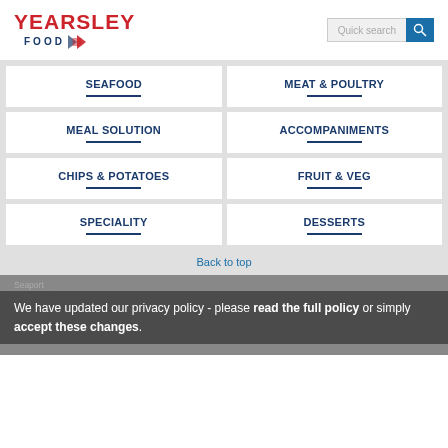[Figure (logo): Yearsley Food logo with red text and blue diamond icon]
[Figure (screenshot): Quick search bar with teal search button]
SEAFOOD
MEAT & POULTRY
MEAL SOLUTION
ACCOMPANIMENTS
CHIPS & POTATOES
FRUIT & VEG
SPECIALITY
DESSERTS
Back to top
Seaport
Origin of Various
10 x 1kg
We have updated our privacy policy - please read the full policy or simply accept these changes.